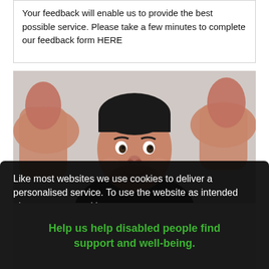Your feedback will enable us to provide the best possible service. Please take a few minutes to complete our feedback form HERE
[Figure (photo): Man giving two thumbs up, photographed from below with a light grey background]
Like most websites we use cookies to deliver a personalised service. To use the website as intended please accept cookies.
Accept Cookies
Help us help disabled people find support and well-being.